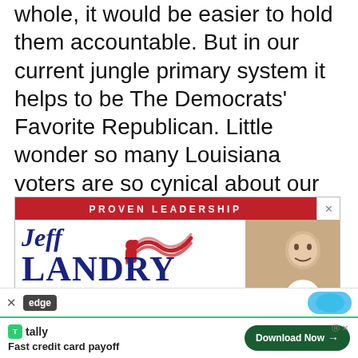whole, it would be easier to hold them accountable. But in our current jungle primary system it helps to be The Democrats' Favorite Republican. Little wonder so many Louisiana voters are so cynical about our politics.
[Figure (other): Political campaign advertisement for Jeff Landry for Louisiana Governor. Red header reads 'PROVEN LEADERSHIP', dark blue body shows 'Jeff LANDRY' in large serif text with American flag graphic and a photo of Jeff Landry smiling. Footer shows LandryForLouisiana.com on dark blue background.]
[Figure (screenshot): Microsoft Edge browser toolbar with 'edge' branding label visible.]
[Figure (other): Tally app advertisement at the bottom: 'Fast credit card payoff' with a 'Download Now' green button.]